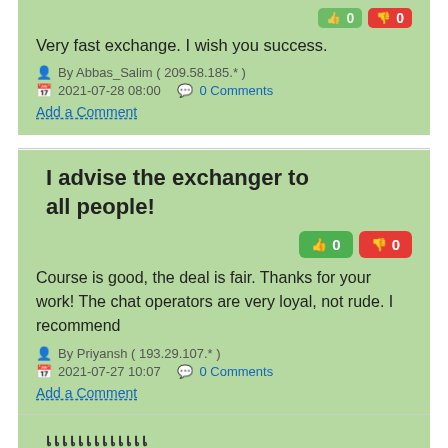Very fast exchange. I wish you success.
By Abbas_Salim ( 209.58.185.* )
2021-07-28 08:00  0 Comments
Add a Comment
I advise the exchanger to all people!
Course is good, the deal is fair. Thanks for your work! The chat operators are very loyal, not rude. I recommend
By Priyansh ( 193.29.107.* )
2021-07-27 10:07  0 Comments
Add a Comment
เเเเเเเเเเเเเ